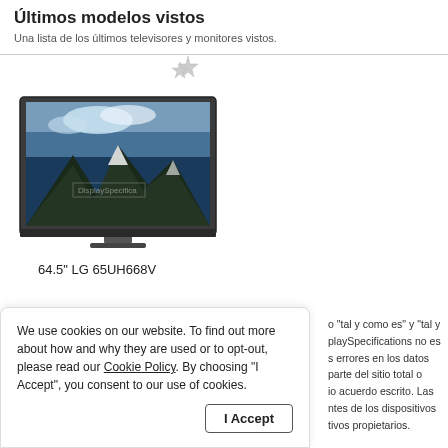Últimos modelos vistos
Una lista de los últimos televisores y monitores vistos.
[Figure (photo): Photo of a large flat-screen LG television displaying a mountain landscape (Matterhorn). The TV has a slim dark bezel and a stand.]
64.5" LG 65UH668V
We use cookies on our website. To find out more about how and why they are used or to opt-out, please read our Cookie Policy. By choosing "I Accept", you consent to our use of cookies.
o "tal y como es" y "tal y playSpecifications no es s errores en los datos parte del sitio total o io acuerdo escrito. Las ntes de los dispositivos tivos propietarios.